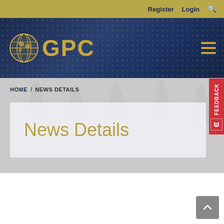Register  Login  🔍
[Figure (logo): GPC logo with globe icon and gold GPC text on dark navy blue background with dot pattern]
HOME / NEWS DETAILS
News Details
[Figure (photo): Yellow file folders arranged in a row, partially visible at bottom of page]